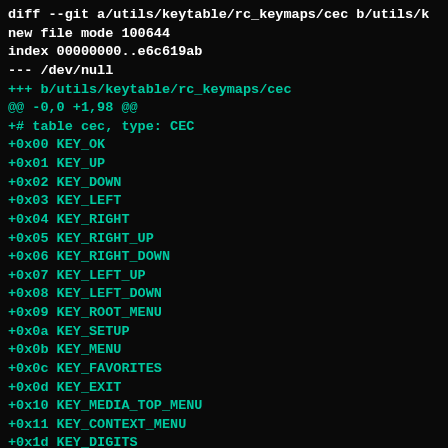diff --git a/utils/keytable/rc_keymaps/cec b/utils/k
new file mode 100644
index 00000000..e6c619ab
--- /dev/null
+++ b/utils/keytable/rc_keymaps/cec
@@ -0,0 +1,98 @@
+# table cec, type: CEC
+0x00 KEY_OK
+0x01 KEY_UP
+0x02 KEY_DOWN
+0x03 KEY_LEFT
+0x04 KEY_RIGHT
+0x05 KEY_RIGHT_UP
+0x06 KEY_RIGHT_DOWN
+0x07 KEY_LEFT_UP
+0x08 KEY_LEFT_DOWN
+0x09 KEY_ROOT_MENU
+0x0a KEY_SETUP
+0x0b KEY_MENU
+0x0c KEY_FAVORITES
+0x0d KEY_EXIT
+0x10 KEY_MEDIA_TOP_MENU
+0x11 KEY_CONTEXT_MENU
+0x1d KEY_DIGITS
+0x1e KEY_NUMERIC_11
+0x1f KEY_NUMERIC_12
+0x20 KEY_NUMERIC_0
+0x21 KEY_NUMERIC_1
+0x22 KEY_NUMERIC_2
+0x23 KEY_NUMERIC_3